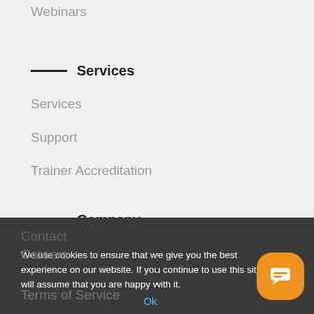Webinars
Services
Services
Support
Trainer Accreditation
Company
About Us
Contact
Careers
Terms of Service
We use cookies to ensure that we give you the best experience on our website. If you continue to use this site we will assume that you are happy with it.
Ok